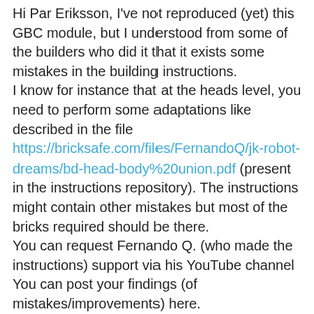Hi Par Eriksson, I've not reproduced (yet) this GBC module, but I understood from some of the builders who did it that it exists some mistakes in the building instructions.
I know for instance that at the heads level, you need to perform some adaptations like described in the file https://bricksafe.com/files/FernandoQ/jk-robot-dreams/bd-head-body%20union.pdf (present in the instructions repository). The instructions might contain other mistakes but most of the bricks required should be there.
You can request Fernando Q. (who made the instructions) support via his YouTube channel
You can post your findings (of mistakes/improvements) here.
Enjoy the build of this masterpiece
Reply